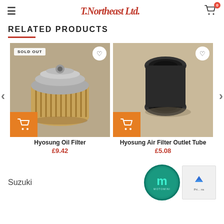T. Northeast Ltd. | Cart (0)
RELATED PRODUCTS
[Figure (photo): Hyosung Oil Filter product photo - cylindrical pleated oil filter with metal top, tan/beige background. Marked SOLD OUT.]
Hyosung Oil Filter
£9.42
[Figure (photo): Hyosung Air Filter Outlet Tube product photo - black rubber cylindrical tube/connector piece on tan background.]
Hyosung Air Filter Outlet Tube
£5.08
Suzuki
[Figure (logo): Motomini circular logo with dark teal background and stylized M letter]
[Figure (screenshot): Scroll to top button with upward arrow icon and partial text Pri... ns]